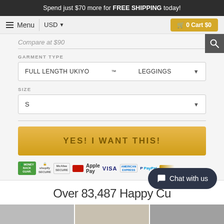Spend just $70 more for FREE SHIPPING today!
Menu | USD | 0 Cart $0
Compare at $90
GARMENT TYPE
FULL LENGTH UKIYO™ LEGGINGS
SIZE
S
YES! I WANT THIS!
[Figure (other): Payment trust badges: Money Back Guarantee, Shopify Secure, McAfee Secure, Mastercard, Apple Pay, Visa, American Express, PayPal, Discover]
Over 83,487 Happy Cu...
[Figure (photo): Row of three customer photos at the bottom of the page]
Chat with us